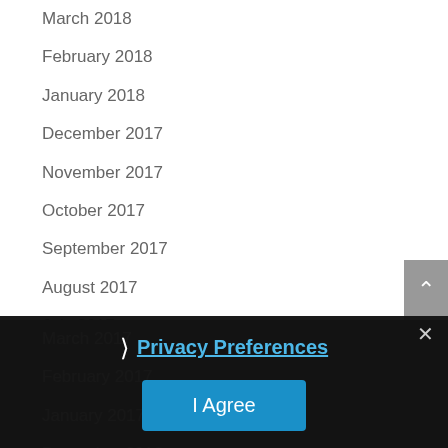March 2018
February 2018
January 2018
December 2017
November 2017
October 2017
September 2017
August 2017
July 2017
June 2017
May 2017
April 2017
March 2017
February 2017
January 2017
December 2016
November 2016
Privacy Preferences
I Agree